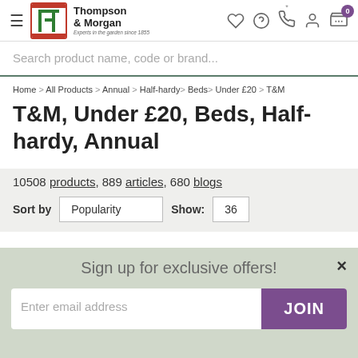Thompson & Morgan — Experts in the garden since 1855
Search product name, code or brand...
Home > All Products > Annual > Half-hardy > Beds > Under £20 > T&M
T&M, Under £20, Beds, Half-hardy, Annual
10508 products, 889 articles, 680 blogs
Sort by Popularity   Show: 36
Sign up for exclusive offers!
Enter email address